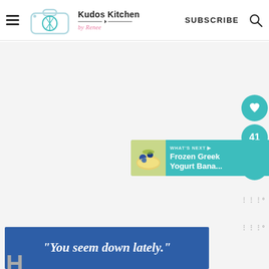Kudos Kitchen by Renee — SUBSCRIBE [search icon]
[Figure (screenshot): Kudos Kitchen by Renee website header with hamburger menu, teal whisk/camera logo, site name, SUBSCRIBE link, and search icon. Below the header is a large white/gray content area. On the right side are teal circular social buttons: a heart/save button, a count showing 41, and a share button. A 'WHAT'S NEXT' widget shows 'Frozen Greek Yogurt Bana...' with a food photo. Two Mediavine logo marks appear on the right. An advertisement banner at the bottom reads: "You seem down lately." in white italic text on a blue background.]
"You seem down lately."